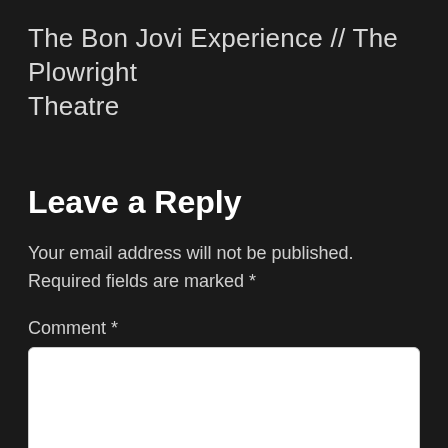The Bon Jovi Experience // The Plowright Theatre
Leave a Reply
Your email address will not be published. Required fields are marked *
Comment *